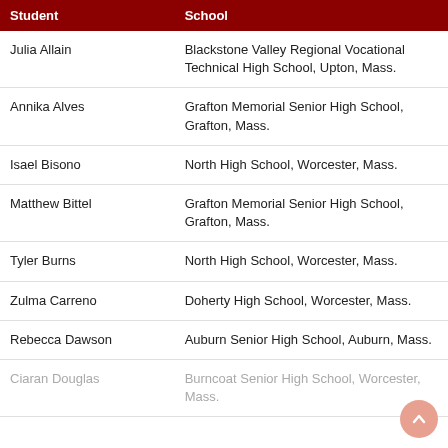| Student | School |
| --- | --- |
| Julia Allain | Blackstone Valley Regional Vocational Technical High School, Upton, Mass. |
| Annika Alves | Grafton Memorial Senior High School, Grafton, Mass. |
| Isael Bisono | North High School, Worcester, Mass. |
| Matthew Bittel | Grafton Memorial Senior High School, Grafton, Mass. |
| Tyler Burns | North High School, Worcester, Mass. |
| Zulma Carreno | Doherty High School, Worcester, Mass. |
| Rebecca Dawson | Auburn Senior High School, Auburn, Mass. |
| Ciaran Douglas | Burncoat Senior High School, Worcester, Mass. |